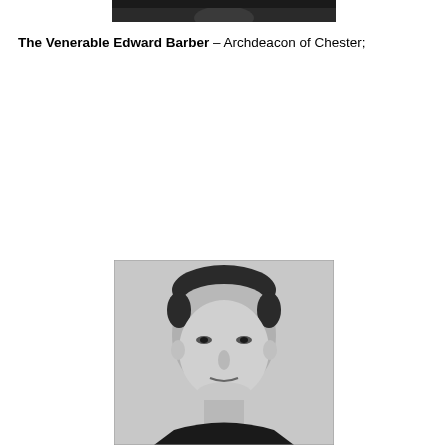[Figure (photo): Partial black and white photograph cropped at top of page, showing the lower portion of a person's face/neck area]
The Venerable Edward Barber – Archdeacon of Chester;
[Figure (photo): Black and white portrait photograph of a man with a receding hairline, wearing dark clothing, facing forward]